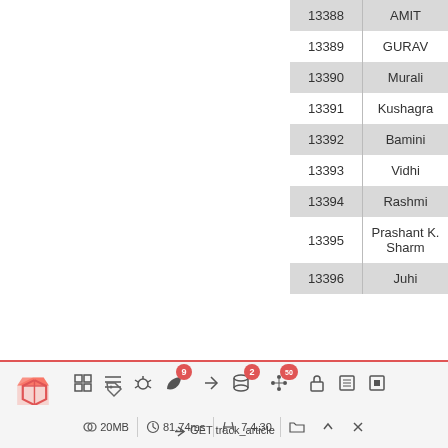| ID | Name |
| --- | --- |
| 13388 | AMIT |
| 13389 | GURAV |
| 13390 | Murali |
| 13391 | Kushagra |
| 13392 | Bamini |
| 13393 | Vidhi |
| 13394 | Rashmi |
| 13395 | Prashant K. Sharm |
| 13396 | Juhi |
[Figure (screenshot): Laravel debug toolbar at bottom of page showing icons with notification badges (9, 2, 50), memory usage 20MB, response time 81.74ms, PHP version 7.4.30, and route GET track_article]